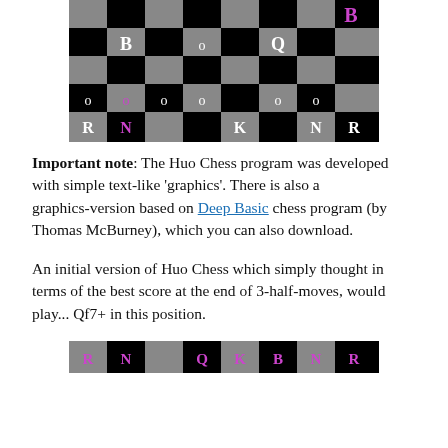[Figure (other): Chess board top half showing text-based chess pieces in white/purple on black and grey squares]
Important note: The Huo Chess program was developed with simple text-like 'graphics'. There is also a graphics-version based on Deep Basic chess program (by Thomas McBurney), which you can also download.
An initial version of Huo Chess which simply thought in terms of the best score at the end of 3-half-moves, would play... Qf7+ in this position.
[Figure (other): Chess board bottom row showing text-based chess pieces R N Q K B N R in purple on black and grey squares]